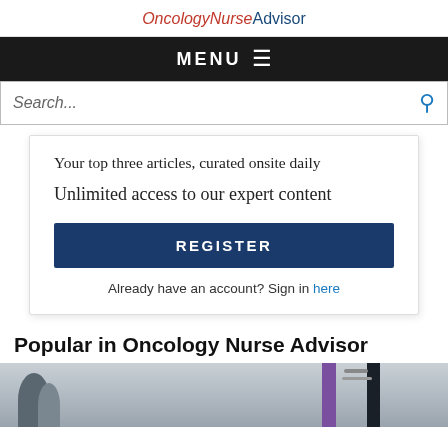OncologyNurseAdvisor
MENU ≡
Search...
Your top three articles, curated onsite daily
Unlimited access to our expert content
REGISTER
Already have an account? Sign in here
Popular in Oncology Nurse Advisor
[Figure (photo): Photo of a person in a medical setting, partially visible at bottom of page, with purple and dark vertical elements in the background]